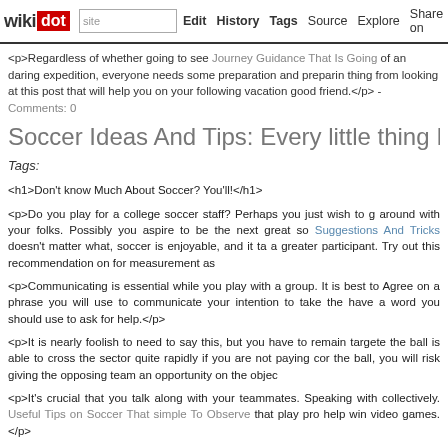wikidot | site | Edit | History | Tags | Source | Explore | Share on [Twitter]
<p>Regardless of whether going to see Journey Guidance That Is Going of an daring expedition, everyone needs some preparation and preparing thing from looking at this post that will help you on your following vacation good friend.</p> - Comments: 0
Soccer Ideas And Tips: Every little thing It's best
Tags:
<h1>Don't know Much About Soccer? You'll!</h1>
<p>Do you play for a college soccer staff? Perhaps you just wish to go around with your folks. Possibly you aspire to be the next great so Suggestions And Tricks doesn't matter what, soccer is enjoyable, and it ta a greater participant. Try out this recommendation on for measurement as
<p>Communicating is essential while you play with a group. It is best to Agree on a phrase you will use to communicate your intention to take the have a word you should use to ask for help.</p>
<p>It is nearly foolish to need to say this, but you have to remain targete the ball is able to cross the sector quite rapidly if you are not paying cor the ball, you will risk giving the opposing team an opportunity on the objec
<p>It's crucial that you talk along with your teammates. Speaking with collectively. Useful Tips on Soccer That simple To Observe that play pro help win video games.</p>